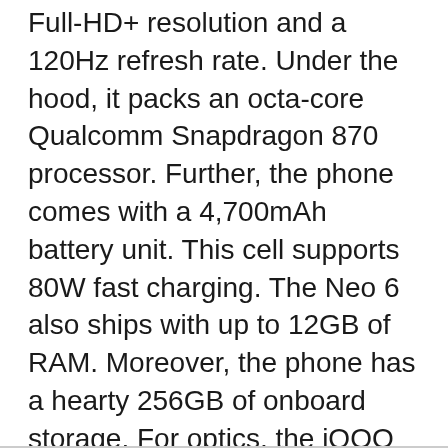Full-HD+ resolution and a 120Hz refresh rate. Under the hood, it packs an octa-core Qualcomm Snapdragon 870 processor. Further, the phone comes with a 4,700mAh battery unit. This cell supports 80W fast charging. The Neo 6 also ships with up to 12GB of RAM. Moreover, the phone has a hearty 256GB of onboard storage. For optics, the iQOO phone houses three cameras on the back.
The phone’s rear-mounted camera setup includes a 64MP primary camera. Also, it has a 12MP ultra-wide lens. Lastly, it comprises a 2MP B&W sensor. Upfront, the phone has a 16MP selfie camera. The Neo 6 will run Android 12 OS out of the box.